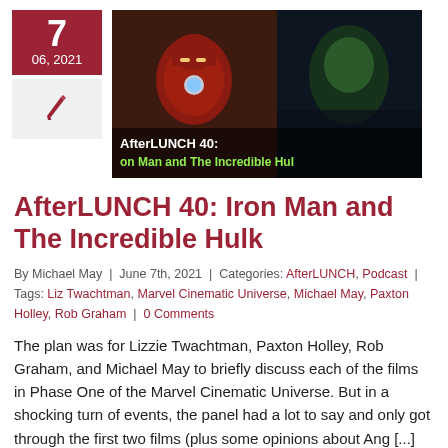[Figure (photo): Date box showing '7 / 06, 2021' in dark red, a pencil icon below, and a composite thumbnail image of Iron Man and The Incredible Hulk with text overlay 'AfterLUNCH 40: Iron Man and The Incredible Hulk']
AfterLUNCH 40: Iron Man and The Incredible Hulk
By Michael May | June 7th, 2021 | Categories: AfterLUNCH, Podcast | Tags: Liz Twachtman, Marvel Cinematic Universe, Michael May, Paxton Holley, Rob Graham | 0 Comments
The plan was for Lizzie Twachtman, Paxton Holley, Rob Graham, and Michael May to briefly discuss each of the films in Phase One of the Marvel Cinematic Universe. But in a shocking turn of events, the panel had a lot to say and only got through the first two films (plus some opinions about Ang [...]